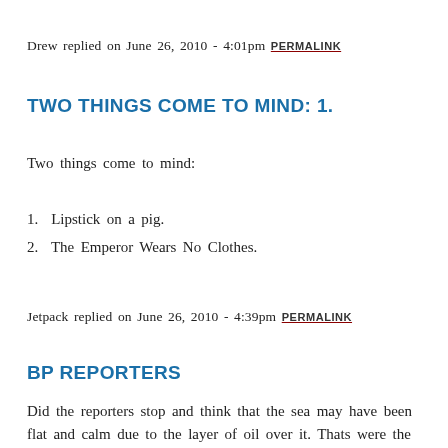Drew replied on June 26, 2010 - 4:01pm PERMALINK
TWO THINGS COME TO MIND: 1.
Two things come to mind:
1.  Lipstick on a pig.
2.  The Emperor Wears No Clothes.
Jetpack replied on June 26, 2010 - 4:39pm PERMALINK
BP REPORTERS
Did the reporters stop and think that the sea may have been flat and calm due to the layer of oil over it. Thats were the saying " to pour oil onto troubled